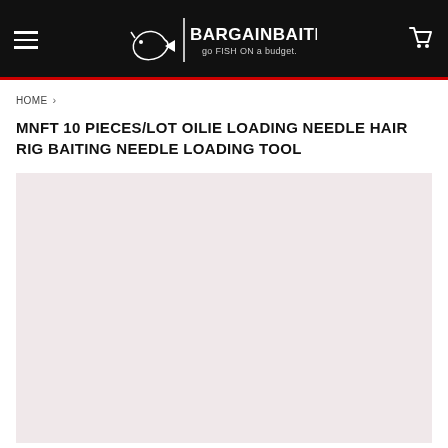BargainBaitBox.com — go FISH ON a budget.
HOME ›
MNFT 10 PIECES/LOT OILIE LOADING NEEDLE HAIR RIG BAITING NEEDLE LOADING TOOL
[Figure (photo): Product image area with light pink/rose background, product photo not loaded]